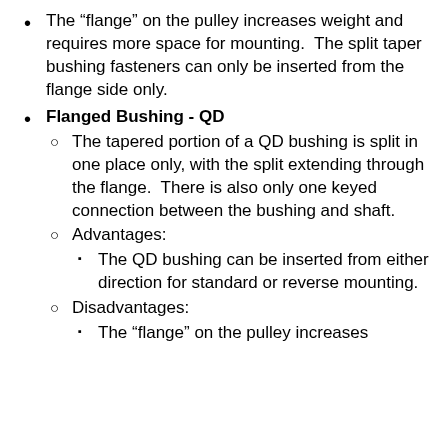The “flange” on the pulley increases weight and requires more space for mounting.  The split taper bushing fasteners can only be inserted from the flange side only.
Flanged Bushing - QD
The tapered portion of a QD bushing is split in one place only, with the split extending through the flange.  There is also only one keyed connection between the bushing and shaft.
Advantages:
The QD bushing can be inserted from either direction for standard or reverse mounting.
Disadvantages:
The “flange” on the pulley increases